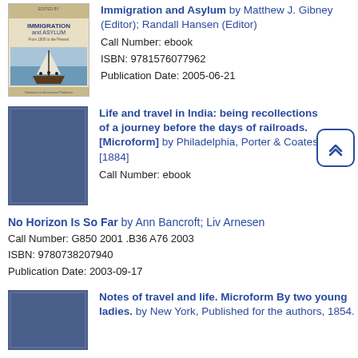[Figure (illustration): Book cover for Immigration and Asylum showing a sailboat with people]
Immigration and Asylum by Matthew J. Gibney (Editor); Randall Hansen (Editor)
Call Number: ebook
ISBN: 9781576077962
Publication Date: 2005-06-21
[Figure (illustration): Blue book cover for Life and travel in India microform]
Life and travel in India: being recollections of a journey before the days of railroads. [Microform] by Philadelphia, Porter & Coates [1884]
Call Number: ebook
No Horizon Is So Far by Ann Bancroft; Liv Arnesen
Call Number: G850 2001 .B36 A76 2003
ISBN: 9780738207940
Publication Date: 2003-09-17
[Figure (illustration): Blue book cover for Notes of travel and life Microform]
Notes of travel and life. Microform By two young ladies. by New York, Published for the authors, 1854.